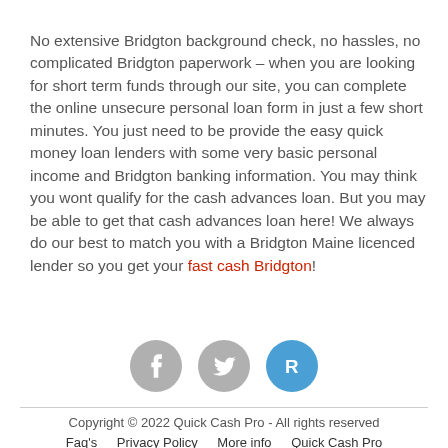No extensive Bridgton background check, no hassles, no complicated Bridgton paperwork – when you are looking for short term funds through our site, you can complete the online unsecure personal loan form in just a few short minutes. You just need to be provide the easy quick money loan lenders with some very basic personal income and Bridgton banking information. You may think you wont qualify for the cash advances loan. But you may be able to get that cash advances loan here! We always do our best to match you with a Bridgton Maine licenced lender so you get your fast cash Bridgton!
[Figure (infographic): Three social media icon circles: Facebook (grey), Twitter (grey), and a blue circle with letter R]
Copyright © 2022 Quick Cash Pro - All rights reserved
Faq's   Privacy Policy   More info   Quick Cash Pro